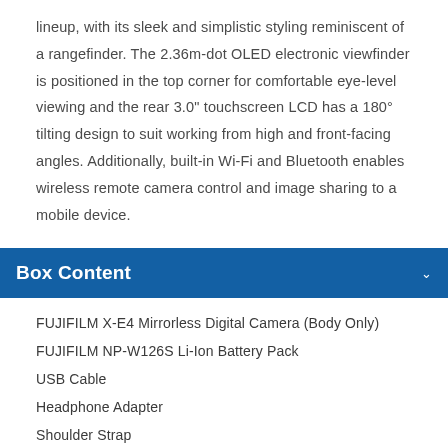lineup, with its sleek and simplistic styling reminiscent of a rangefinder. The 2.36m-dot OLED electronic viewfinder is positioned in the top corner for comfortable eye-level viewing and the rear 3.0" touchscreen LCD has a 180° tilting design to suit working from high and front-facing angles. Additionally, built-in Wi-Fi and Bluetooth enables wireless remote camera control and image sharing to a mobile device.
Box Content
FUJIFILM X-E4 Mirrorless Digital Camera (Body Only)
FUJIFILM NP-W126S Li-Ion Battery Pack
USB Cable
Headphone Adapter
Shoulder Strap